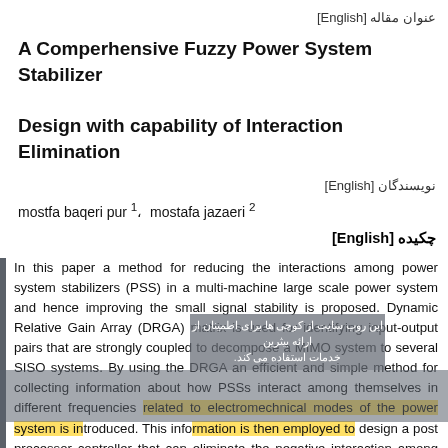عنوان مقاله [English]
A Comperhensive Fuzzy Power System Stabilizer Design with capability of Interaction Elimination
نویسندگان [English]
mostfa baqeri pur¹، mostafa jazaeri²
چکیده [English]
In this paper a method for reducing the interactions among power system stabilizers (PSS) in a multi-machine large scale power system and hence improving the small signal stability is proposed. Dynamic Relative Gain Array (DRGA) matrix is used for identifying input-output pairs that are strongly coupled to decompose a MIMO system to several SISO systems. By using the DRGA an efficient and simple method for collecting information about how PSSs interact among themselves in different frequencies related to electromechnical modes of the power system is introduced. This information is then employed to design a post processor controller that can eliminate the negative interaction among stabilizers by managing the output signals. In